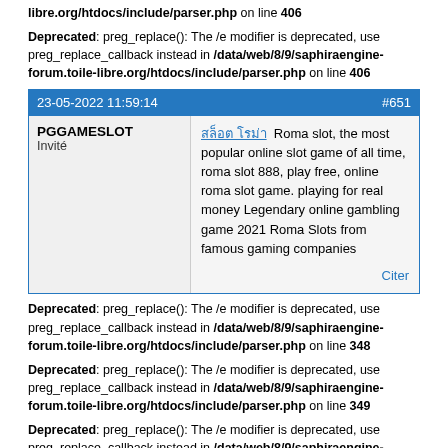libre.org/htdocs/include/parser.php on line 406
Deprecated: preg_replace(): The /e modifier is deprecated, use preg_replace_callback instead in /data/web/8/9/saphiraengine-forum.toile-libre.org/htdocs/include/parser.php on line 406
| 23-05-2022 11:59:14 | #651 |
| --- | --- |
| PGGAMESLOT
Invité | สล็อต โรม่า  Roma slot, the most popular online slot game of all time, roma slot 888, play free, online roma slot game. playing for real money Legendary online gambling game 2021 Roma Slots from famous gaming companies

Citer |
Deprecated: preg_replace(): The /e modifier is deprecated, use preg_replace_callback instead in /data/web/8/9/saphiraengine-forum.toile-libre.org/htdocs/include/parser.php on line 348
Deprecated: preg_replace(): The /e modifier is deprecated, use preg_replace_callback instead in /data/web/8/9/saphiraengine-forum.toile-libre.org/htdocs/include/parser.php on line 349
Deprecated: preg_replace(): The /e modifier is deprecated, use preg_replace_callback instead in /data/web/8/9/saphiraengine-forum.toile-libre.org/htdocs/include/parser.php on line 333
Deprecated: preg_replace(): The /e modifier is deprecated, use preg_replace_callback instead in /data/web/8/9/saphiraengine-forum.toile-libre.org/htdocs/include/parser.php on line 333
Deprecated: preg_replace(): The /e modifier is deprecated, use preg_replace_callback instead in /data/web/8/9/saphiraengine-forum.toile-libre.org/htdocs/include/parser.php on line 406